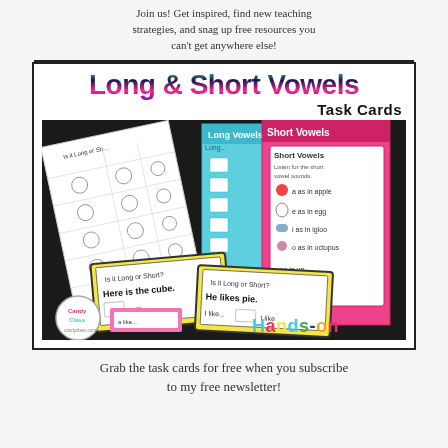Join us! Get inspired, find new teaching strategies, and snag up free resources you can't get anywhere else!
[Figure (photo): Product image for Long & Short Vowels Task Cards showing worksheets, cyan and pink folders with vowel content, yellow task cards reading 'Here is the cube' and 'He likes pie', pink mini cards, a Candy Class logo, and 'Hands-on' text in colorful letters on a dark background.]
Grab the task cards for free when you subscribe to my free newsletter!